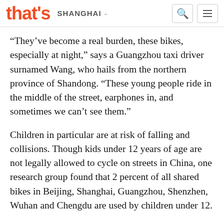that's SHANGHAI
“They’ve become a real burden, these bikes, especially at night,” says a Guangzhou taxi driver surnamed Wang, who hails from the northern province of Shandong. “These young people ride in the middle of the street, earphones in, and sometimes we can’t see them.”
Children in particular are at risk of falling and collisions. Though kids under 12 years of age are not legally allowed to cycle on streets in China, one research group found that 2 percent of all shared bikes in Beijing, Shanghai, Guangzhou, Shenzhen, Wuhan and Chengdu are used by children under 12.
READ MORE: Thousands Banned from Shared Bikes in Shenzhen
In March of this year, an 11-year-old boy died at an